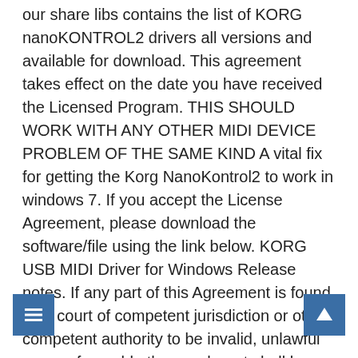our share libs contains the list of KORG nanoKONTROL2 drivers all versions and available for download. This agreement takes effect on the date you have received the Licensed Program. THIS SHOULD WORK WITH ANY OTHER MIDI DEVICE PROBLEM OF THE SAME KIND A vital fix for getting the Korg NanoKontrol2 to work in windows 7. If you accept the License Agreement, please download the software/file using the link below. KORG USB MIDI Driver for Windows Release notes. If any part of this Agreement is found by a court of competent jurisdiction or other competent authority to be invalid, unlawful or unenforceable then such part shall be severed from the remainder of this Agreement which will continue to be valid and enforceable to the fullest extent permitted by law. Processing of the current bridge driver. Korg